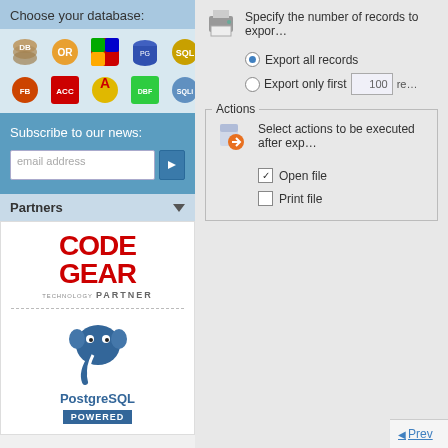Choose your database:
[Figure (screenshot): Grid of database icons (MySQL, Oracle, SQL Server, PostgreSQL, etc.)]
Subscribe to our news:
email address
Partners
[Figure (logo): CodeGear Technology Partner logo in red]
[Figure (logo): PostgreSQL Powered logo with elephant]
[Figure (screenshot): Printer icon]
Specify the number of records to export
Export all records
Export only first 100 re
[Figure (screenshot): Actions icon with gear/arrow]
Select actions to be executed after exp
Open file
Print file
Prev
Retu